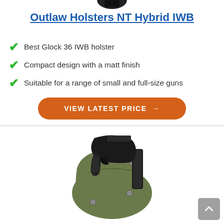[Figure (photo): Top portion of a black holster product photo, partially visible at top of page]
Outlaw Holsters NT Hybrid IWB
Best Glock 36 IWB holster
Compact design with a matt finish
Suitable for a range of small and full-size guns
VIEW LATEST PRICE →
[Figure (photo): Product photo of an olive/tan colored IWB holster with a black pistol inserted, showing Kydex construction with belt clip]